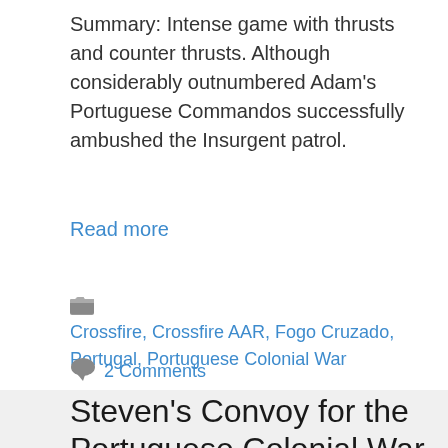Summary: Intense game with thrusts and counter thrusts. Although considerably outnumbered Adam's Portuguese Commandos successfully ambushed the Insurgent patrol.
Read more
Crossfire, Crossfire AAR, Fogo Cruzado, Portugal, Portuguese Colonial War
2 Comments
Steven's Convoy for the Portuguese Colonial War